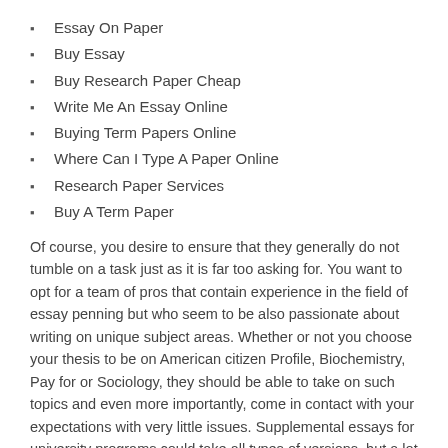Essay On Paper
Buy Essay
Buy Research Paper Cheap
Write Me An Essay Online
Buying Term Papers Online
Where Can I Type A Paper Online
Research Paper Services
Buy A Term Paper
Of course, you desire to ensure that they generally do not tumble on a task just as it is far too asking for. You want to opt for a team of pros that contain experience in the field of essay penning but who seem to be also passionate about writing on unique subject areas. Whether or not you choose your thesis to be on American citizen Profile, Biochemistry, Pay for or Sociology, they should be able to take on such topics and even more importantly, come in contact with your expectations with very little issues. Supplemental essays for university programs could take all types of versions, but a lot of options are basically presenting a very corresponding subject: "Why want to just go to our advanced schooling. The debate tunes very easy, but college or university